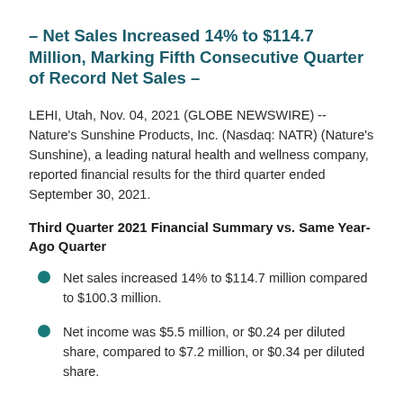– Net Sales Increased 14% to $114.7 Million, Marking Fifth Consecutive Quarter of Record Net Sales –
LEHI, Utah, Nov. 04, 2021 (GLOBE NEWSWIRE) -- Nature's Sunshine Products, Inc. (Nasdaq: NATR) (Nature's Sunshine), a leading natural health and wellness company, reported financial results for the third quarter ended September 30, 2021.
Third Quarter 2021 Financial Summary vs. Same Year-Ago Quarter
Net sales increased 14% to $114.7 million compared to $100.3 million.
Net income was $5.5 million, or $0.24 per diluted share, compared to $7.2 million, or $0.34 per diluted share.